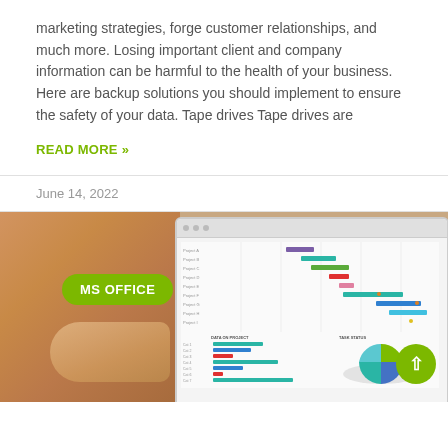marketing strategies, forge customer relationships, and much more. Losing important client and company information can be harmful to the health of your business. Here are backup solutions you should implement to ensure the safety of your data. Tape drives Tape drives are
READ MORE »
June 14, 2022
[Figure (photo): Screenshot of MS Office dashboard showing Gantt chart and project charts on a monitor/tablet, with a blurred hand holding the tablet on the left side. A green 'MS OFFICE' badge overlays the left portion of the image. A green scroll-up arrow button appears in the bottom right.]